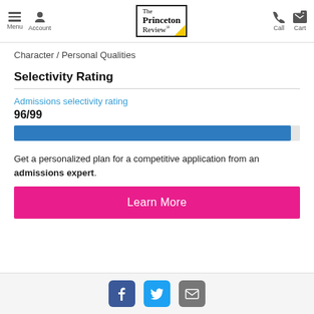Menu | Account | The Princeton Review | Call | Cart
Character / Personal Qualities
Selectivity Rating
Admissions selectivity rating
96/99
[Figure (bar-chart): Admissions selectivity rating bar]
Get a personalized plan for a competitive application from an admissions expert.
Learn More
Facebook | Twitter | Email